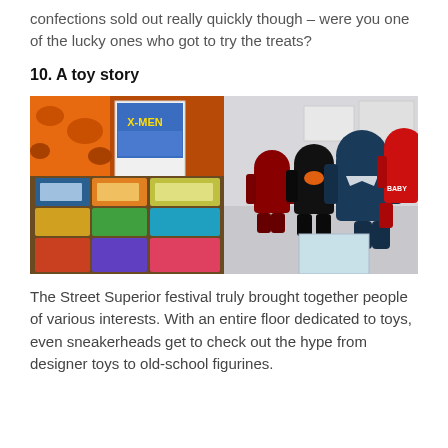confections sold out really quickly though – were you one of the lucky ones who got to try the treats?
10. A toy story
[Figure (photo): Two-panel photo: left panel shows a table covered with packaged toy cars, action figures, and comic books including an X-Men issue; right panel shows a shelf of collectible Bearbrick designer toy figures in black, red, and other colors.]
The Street Superior festival truly brought together people of various interests. With an entire floor dedicated to toys, even sneakerheads get to check out the hype from designer toys to old-school figurines.